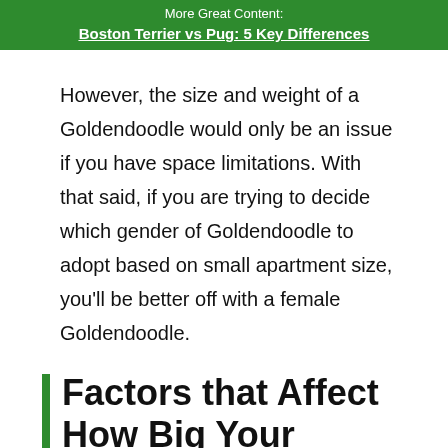More Great Content:
Boston Terrier vs Pug: 5 Key Differences
However, the size and weight of a Goldendoodle would only be an issue if you have space limitations. With that said, if you are trying to decide which gender of Goldendoodle to adopt based on small apartment size, you'll be better off with a female Goldendoodle.
Factors that Affect How Big Your Goldendoodles Get